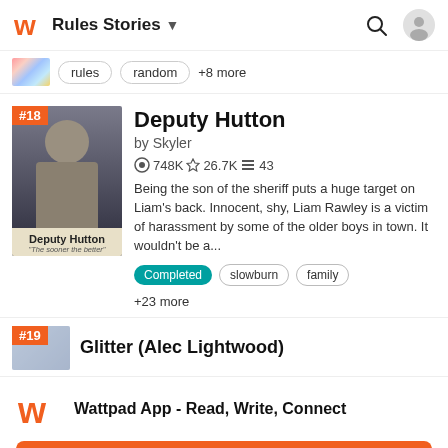Rules Stories
rules   random   +8 more
Deputy Hutton
by Skyler
748K ★26.7K ≡43
Being the son of the sheriff puts a huge target on Liam's back. Innocent, shy, Liam Rawley is a victim of harassment by some of the older boys in town. It wouldn't be a...
Completed   slowburn   family
+23 more
Glitter (Alec Lightwood)
Wattpad App - Read, Write, Connect
Start Reading
Log in with Browser